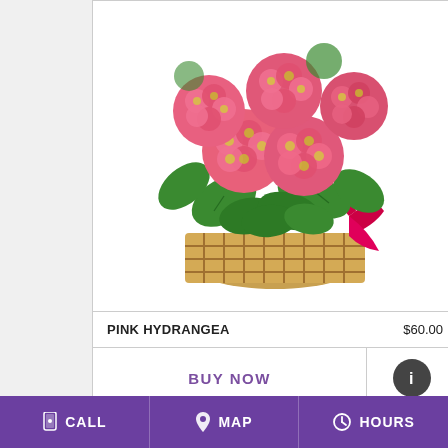[Figure (photo): Pink hydrangea flowers in a woven basket with a red satin bow ribbon, white background]
PINK HYDRANGEA   $60.00
BUY NOW
CALL   MAP   HOURS